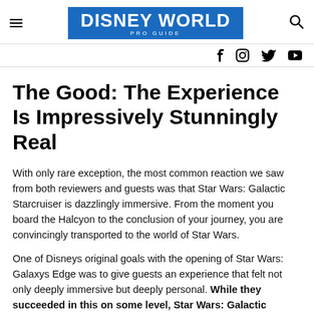DISNEY WORLD PRO GUIDE
The Good: The Experience Is Impressively Stunningly Real
With only rare exception, the most common reaction we saw from both reviewers and guests was that Star Wars: Galactic Starcruiser is dazzlingly immersive. From the moment you board the Halcyon to the conclusion of your journey, you are convincingly transported to the world of Star Wars.
One of Disneys original goals with the opening of Star Wars: Galaxys Edge was to give guests an experience that felt not only deeply immersive but deeply personal. While they succeeded in this on some level, Star Wars: Galactic